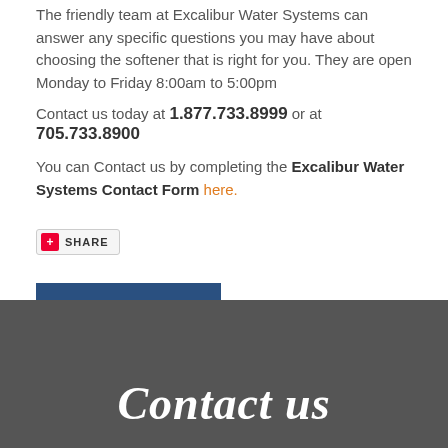The friendly team at Excalibur Water Systems can answer any specific questions you may have about choosing the softener that is right for you. They are open Monday to Friday 8:00am to 5:00pm
Contact us today at 1.877.733.8999 or at 705.733.8900
You can Contact us by completing the Excalibur Water Systems Contact Form here.
[Figure (other): Share button with red plus icon and SHARE label]
ADMIN'S BLOG >>
Contact us